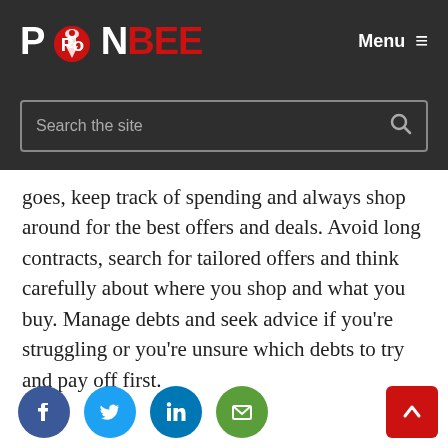PONBEE — Menu
goes, keep track of spending and always shop around for the best offers and deals. Avoid long contracts, search for tailored offers and think carefully about where you shop and what you buy. Manage debts and seek advice if you're struggling or you're unsure which debts to try and pay off first.
[Figure (other): Social sharing icons: Facebook, Twitter, LinkedIn, Email, and a scroll-to-top red button]